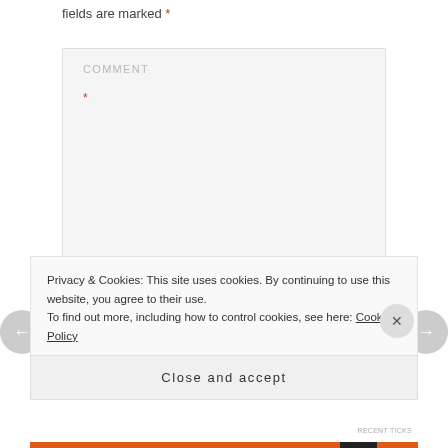fields are marked *
[Figure (screenshot): Comment form text area with placeholder text 'COMMENT' and required asterisk marker, with resize handle at bottom right]
Privacy & Cookies: This site uses cookies. By continuing to use this website, you agree to their use.
To find out more, including how to control cookies, see here: Cookie Policy
Close and accept